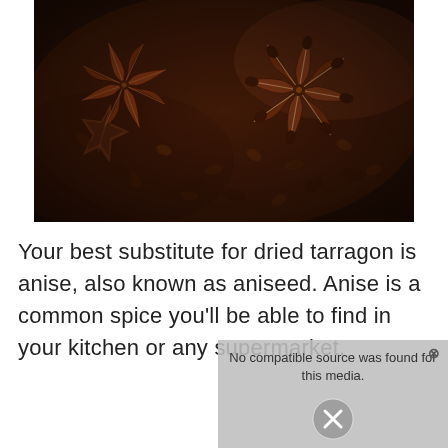[Figure (photo): Close-up photograph of star anise (dried spice), showing multiple star-shaped dark brown anise pods piled together, with shallow depth of field highlighting one prominent star anise in the upper right.]
Your best substitute for dried tarragon is anise, also known as aniseed. Anise is a common spice you'll be able to find in your kitchen or any supermarket.
[Figure (screenshot): A video player overlay showing 'No compatible source was found for this media.' error message with an X close button and a large X/close icon in the center, overlaid on a blurred background showing what appears to be a glass with ice.]